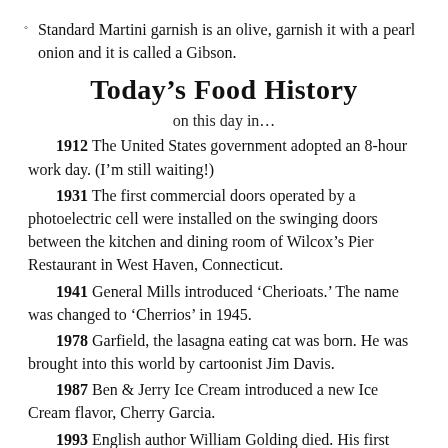Standard Martini garnish is an olive, garnish it with a pearl onion and it is called a Gibson.
Today's Food History
on this day in…
1912 The United States government adopted an 8-hour work day. (I'm still waiting!)
1931 The first commercial doors operated by a photoelectric cell were installed on the swinging doors between the kitchen and dining room of Wilcox's Pier Restaurant in West Haven, Connecticut.
1941 General Mills introduced 'Cherioats.' The name was changed to 'Cherrios' in 1945.
1978 Garfield, the lasagna eating cat was born. He was brought into this world by cartoonist Jim Davis.
1987 Ben & Jerry Ice Cream introduced a new Ice Cream flavor, Cherry Garcia.
1993 English author William Golding died. His first novel